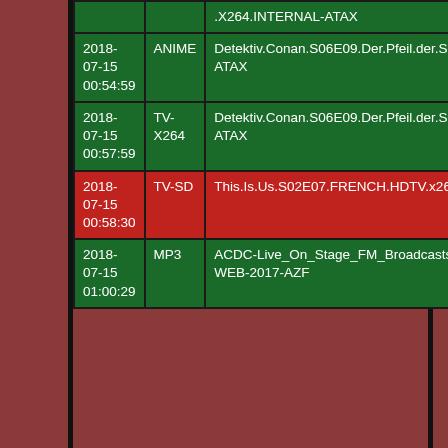| Date | Type | Name |
| --- | --- | --- |
|  |  | .X264.INTERNAL-ATAX |
| 2018-07-15 00:54:59 | ANIME | Detektiv.Conan.S06E09.Der.Pfeil.der.Sirene.3.German.ANiME.FS.1080p.HDTV.x264-ATAX |
| 2018-07-15 00:57:59 | TV-X264 | Detektiv.Conan.S06E09.Der.Pfeil.der.Sirene.3.German.ANiME.FS.720p.HDTV.x264-ATAX |
| 2018-07-15 00:58:30 | TV-SD | This.Is.Us.S02E07.FRENCH.HDTV.x264-AMB3R |
| 2018-07-15 01:00:29 | MP3 | ACDC-Live_On_Stage_FM_Broadcasts_-_Reunion_Arena_(12th_October_1985)-WEB-2017-AZF |